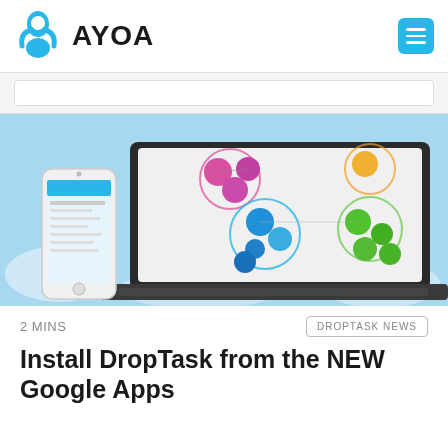AYOA
[Figure (screenshot): Hero image showing Ayoa/DropTask app on a laptop screen displaying colorful circular task bubbles in a mind map layout, and a smartphone showing the mobile app, set against a sky background]
2 MINS
DROPTASK NEWS
Install DropTask from the NEW Google Apps